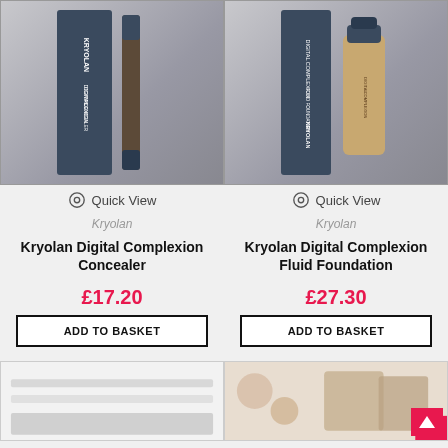[Figure (photo): Kryolan Digital Complexion Concealer product photo showing dark navy box and concealer stick]
[Figure (photo): Kryolan Digital Complexion Fluid Foundation product photo showing dark navy box and foundation bottle]
Quick View
Quick View
Kryolan
Kryolan
Kryolan Digital Complexion Concealer
Kryolan Digital Complexion Fluid Foundation
£17.20
£27.30
ADD TO BASKET
ADD TO BASKET
[Figure (photo): Bottom partial product image - white/grey product]
[Figure (photo): Bottom partial product image - floral background with model face]